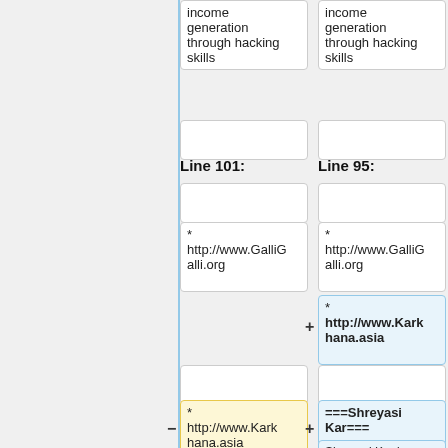income generation through hacking skills
income generation through hacking skills
Line 101:
Line 95:
* http://www.GalliGalli.org
* http://www.GalliGalli.org
+ * http://www.Karkhana.asia
- * http://www.Karkhana.asia
+ ===Shreyasi Kar===
Shreyasi Kar is